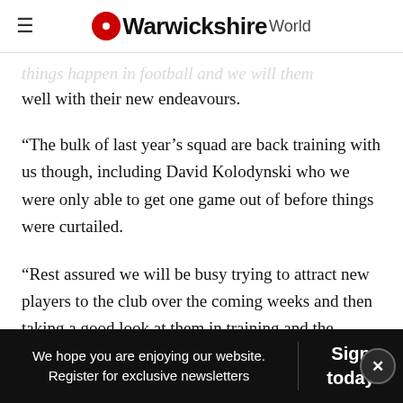Warwickshire World
things happen in football and we wish them well with their new endeavours.
“The bulk of last year’s squad are back training with us though, including David Kolodynski who we were only able to get one game out of before things were curtailed.
“Rest assured we will be busy trying to attract new players to the club over the coming weeks and then taking a good look at them in training and the friendlies.”
We hope you are enjoying our website. Register for exclusive newsletters | Sign today